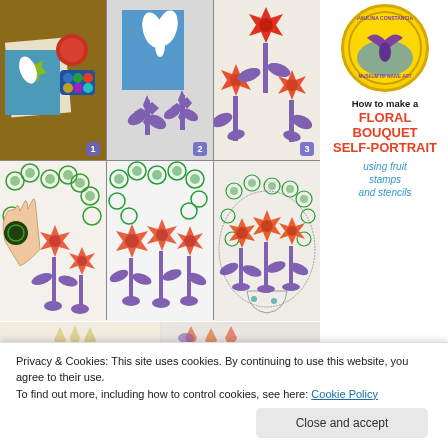[Figure (photo): Step 1: Craft supplies — star fruit slice, paint, blue watercolor palette on brown table with white paper on blue background]
[Figure (photo): Step 2: White flower/leaf cutout on blue card with purple flower stamp prints below]
[Figure (photo): Step 3: Completed top row — red and orange star-shaped flower stamps with purple stems on white paper]
[Figure (photo): Step 4: Hand pressing green circular stamp next to orange star flowers with purple stems]
[Figure (photo): Step 5: More orange star flowers with green circular stamps and purple stems on white paper]
[Figure (photo): Step 6: Completed floral bouquet self-portrait with circle outline drawn around the flower arrangement]
[Figure (logo): Paulina Constancia Museum of Naive Art circular logo with decorative bird/butterfly design in gold border]
How to make a
FLORAL BOUQUET SELF-PORTRAIT
using fruit stamps and stencils
Privacy & Cookies: This site uses cookies. By continuing to use this website, you agree to their use.
To find out more, including how to control cookies, see here: Cookie Policy
Close and accept